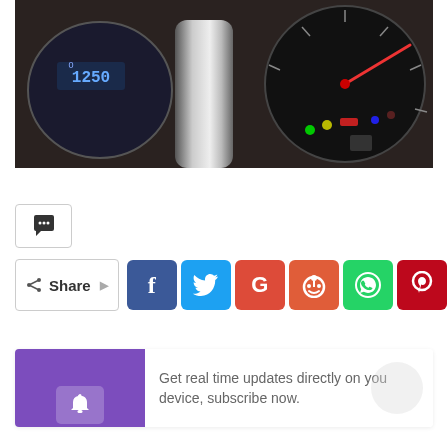[Figure (photo): Close-up photo of a motorcycle dashboard/instrument cluster with illuminated gauges showing rpm reading around 1250, with colorful indicator lights including green, yellow, red needle, blue and red LEDs visible on a circular tachometer face]
[Figure (infographic): Comment button (speech bubble icon) in a rectangular border, followed by a Share button row with social media icons: Facebook (blue), Twitter (cyan), Google+ (red-orange), Reddit (orange-red), WhatsApp (green), Pinterest (dark red), and a notification subscription bar with purple section containing a bell icon and text 'Get real time updates directly on you device, subscribe now.']